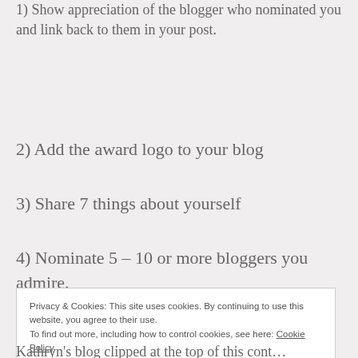1) Show appreciation of the blogger who nominated you and link back to them in your post.
2) Add the award logo to your blog
3) Share 7 things about yourself
4) Nominate 5 – 10 or more bloggers you admire.
Privacy & Cookies: This site uses cookies. By continuing to use this website, you agree to their use.
To find out more, including how to control cookies, see here: Cookie Policy

Close and accept
Kathryn's blog clipped at the top of this content, partial text visible